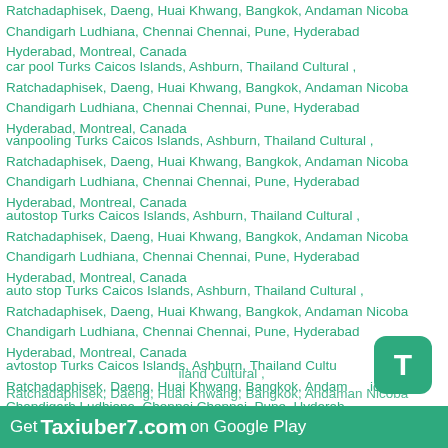Ratchadaphisek, Daeng, Huai Khwang, Bangkok, Andaman Nicoba
Chandigarh Ludhiana, Chennai Chennai, Pune, Hyderabad
Hyderabad, Montreal, Canada
car pool Turks Caicos Islands, Ashburn, Thailand Cultural ,
Ratchadaphisek, Daeng, Huai Khwang, Bangkok, Andaman Nicoba
Chandigarh Ludhiana, Chennai Chennai, Pune, Hyderabad
Hyderabad, Montreal, Canada
vanpooling Turks Caicos Islands, Ashburn, Thailand Cultural ,
Ratchadaphisek, Daeng, Huai Khwang, Bangkok, Andaman Nicoba
Chandigarh Ludhiana, Chennai Chennai, Pune, Hyderabad
Hyderabad, Montreal, Canada
autostop Turks Caicos Islands, Ashburn, Thailand Cultural ,
Ratchadaphisek, Daeng, Huai Khwang, Bangkok, Andaman Nicoba
Chandigarh Ludhiana, Chennai Chennai, Pune, Hyderabad
Hyderabad, Montreal, Canada
auto stop Turks Caicos Islands, Ashburn, Thailand Cultural ,
Ratchadaphisek, Daeng, Huai Khwang, Bangkok, Andaman Nicoba
Chandigarh Ludhiana, Chennai Chennai, Pune, Hyderabad
Hyderabad, Montreal, Canada
avtostop Turks Caicos Islands, Ashburn, Thailand Cultu
Ratchadaphisek, Daeng, Huai Khwang, Bangkok, Andam Nicoba
Chandigarh Ludhiana, Chennai Chennai, Pune, Hyderab
Hyderabad, Montreal, Canada
Get Taxiuber7.com on Google Play iland Cultural ,
Ratchadaphisek, Daeng, Huai Khwang, Bangkok, Andaman Nicoba